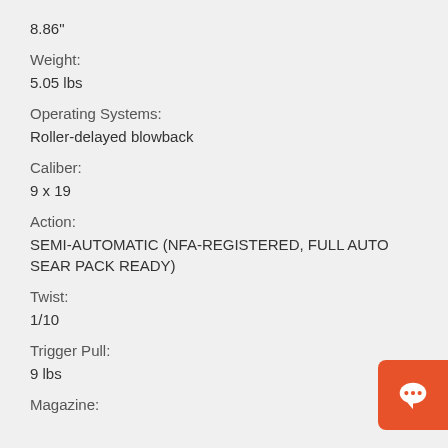8.86"
Weight:
5.05 lbs
Operating Systems:
Roller-delayed blowback
Caliber:
9 x 19
Action:
SEMI-AUTOMATIC (NFA-REGISTERED, FULL AUTO SEAR PACK READY)
Twist:
1/10
Trigger Pull:
9 lbs
Magazine: